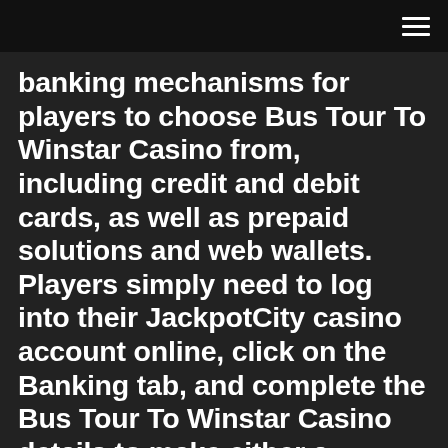[Figure (screenshot): Mobile browser top navigation bar with hamburger menu icon (three horizontal lines) on the right side, dark background]
banking mechanisms for players to choose Bus Tour To Winstar Casino from, including credit and debit cards, as well as prepaid solutions and web wallets. Players simply need to log into their JackpotCity casino account online, click on the Banking tab, and complete the Bus Tour To Winstar Casino details to make either a deposit or a withdrawal.
04/04/2020 Casino Best Slots Winstar Reviews and